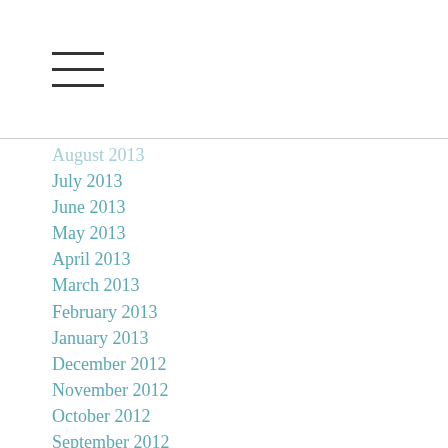[Figure (other): Hamburger menu icon with three horizontal lines]
August 2013
July 2013
June 2013
May 2013
April 2013
March 2013
February 2013
January 2013
December 2012
November 2012
October 2012
September 2012
August 2012
July 2012
June 2012
May 2012
April 2012
March 2012